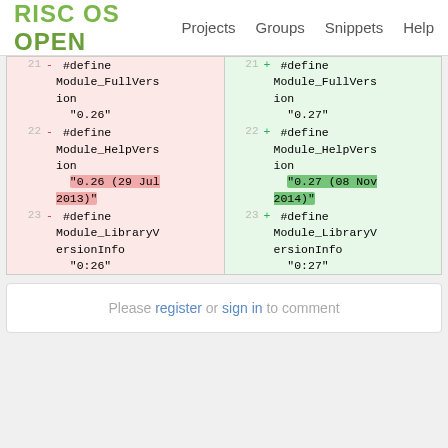RISC OS OPEN | Projects | Groups | Snippets | Help
[Figure (screenshot): Diff view showing two columns (left: removed lines with red background, right: added lines with green background). Line 21: #define Module_FullVersion "0.26" vs "0.27". Line 22: #define Module_HelpVersion "0.26 (29 Jul 2013)" vs "0.27 (08 Nov 2014)". Line 23: #define Module_LibraryVersionInfo "0:26" vs "0:27".]
Please register or sign in to comment